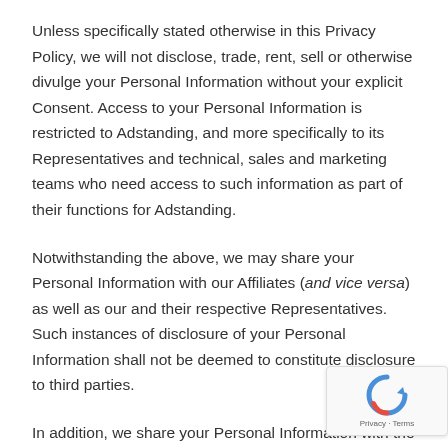Unless specifically stated otherwise in this Privacy Policy, we will not disclose, trade, rent, sell or otherwise divulge your Personal Information without your explicit Consent. Access to your Personal Information is restricted to Adstanding, and more specifically to its Representatives and technical, sales and marketing teams who need access to such information as part of their functions for Adstanding.
Notwithstanding the above, we may share your Personal Information with our Affiliates (and vice versa) as well as our and their respective Representatives. Such instances of disclosure of your Personal Information shall not be deemed to constitute disclosure to third parties.
In addition, we share your Personal Information with the following third parties: